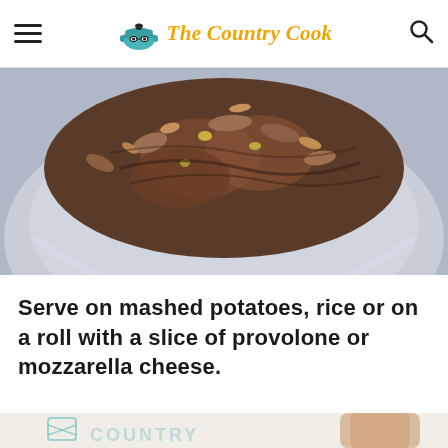The Country Cook
[Figure (photo): Close-up photo of a food dish, showing a plate with chopped nuts, peppers and braised meat on a light blue/grey plate, viewed from above.]
Serve on mashed potatoes, rice or on a roll with a slice of provolone or mozzarella cheese.
[Figure (photo): Partial bottom photo showing a glass with a brown/amber beverage, with a Country Cook watermark logo partially visible.]